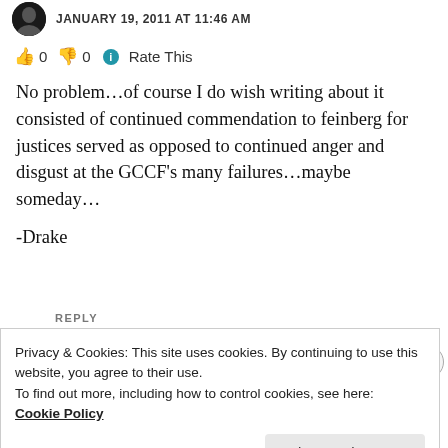JANUARY 19, 2011 AT 11:46 AM
👍 0 👎 0 ℹ Rate This
No problem…of course I do wish writing about it consisted of continued commendation to feinberg for justices served as opposed to continued anger and disgust at the GCCF's many failures…maybe someday…

-Drake
REPLY
Privacy & Cookies: This site uses cookies. By continuing to use this website, you agree to their use.
To find out more, including how to control cookies, see here: Cookie Policy
Close and accept